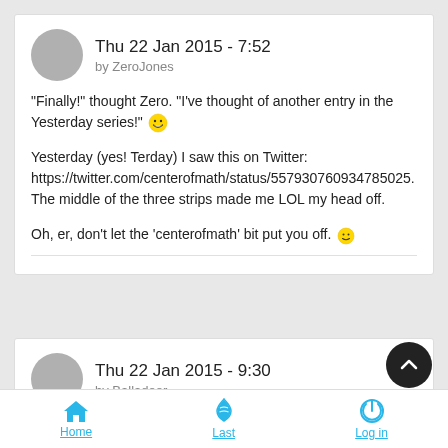Thu 22 Jan 2015 - 7:52 by ZeroJones
"Finally!" thought Zero. "I've thought of another entry in the Yesterday series!" 😀

Yesterday (yes! Terday) I saw this on Twitter: https://twitter.com/centerofmath/status/557930760934785025. The middle of the three strips made me LOL my head off.

Oh, er, don't let the 'centerofmath' bit put you off. 🙂
Thu 22 Jan 2015 - 9:30 by Balladeer
Home   Last   Log in